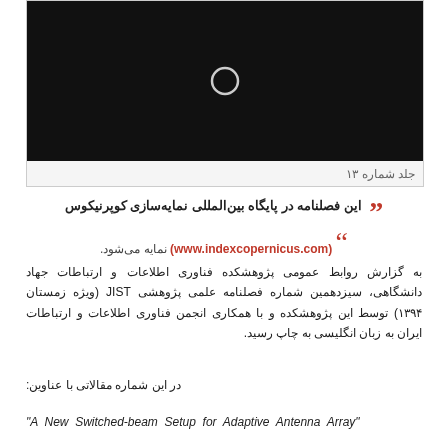[Figure (screenshot): Black background video thumbnail with a circular play/volume icon in the center, displayed in a bordered box with caption below reading 'جلد شماره ۱۳']
جلد شماره ۱۳
این فصلنامه در پایگاه بین‌المللی نمایه‌سازی کوپرنیکوس (www.indexcopernicus.com) نمایه می‌شود.
به گزارش روابط عمومی پژوهشکده فناوری اطلاعات و ارتباطات جهاد دانشگاهی، سیزدهمین شماره فصلنامه علمی پژوهشی JIST (ویژه زمستان ۱۳۹۴) توسط این پژوهشکده و با همکاری انجمن فناوری اطلاعات و ارتباطات ایران به زبان انگلیسی به چاپ رسید.
در این شماره مقالاتی با عناوین:
"A New Switched-beam Setup for Adaptive Antenna Array